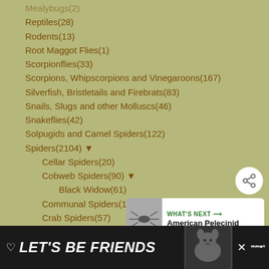Reptiles(28)
Rodents(13)
Root Maggot Flies(1)
Scorpionflies(33)
Scorpions, Whipscorpions and Vinegaroons(167)
Silverfish, Bristletails and Firebrats(83)
Snails, Slugs and other Molluscs(46)
Snakeflies(42)
Solpugids and Camel Spiders(122)
Spiders(2104) ▼
Cellar Spiders(20)
Cobweb Spiders(90) ▼
Black Widow(61)
Communal Spiders(1)
Crab Spiders(57)
Crevice Weaver Spider(23)
Desidae(1)
False Wolf Spiders(4)
[Figure (other): Share button (circular white button with share icon)]
[Figure (other): What's Next box showing American Pelecinid with a thumbnail image]
[Figure (other): Advertisement banner: LET'S BE FRIENDS with dog image]